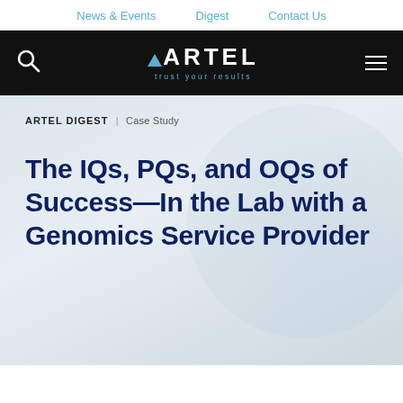News & Events  Digest  Contact Us
[Figure (logo): ARTEL logo with blue triangle, white text on black background, tagline 'trust your results']
ARTEL DIGEST | Case Study
The IQs, PQs, and OQs of Success—In the Lab with a Genomics Service Provider